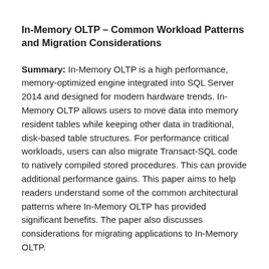In-Memory OLTP – Common Workload Patterns and Migration Considerations
Summary: In-Memory OLTP is a high performance, memory-optimized engine integrated into SQL Server 2014 and designed for modern hardware trends. In-Memory OLTP allows users to move data into memory resident tables while keeping other data in traditional, disk-based table structures. For performance critical workloads, users can also migrate Transact-SQL code to natively compiled stored procedures. This can provide additional performance gains. This paper aims to help readers understand some of the common architectural patterns where In-Memory OLTP has provided significant benefits. The paper also discusses considerations for migrating applications to In-Memory OLTP.